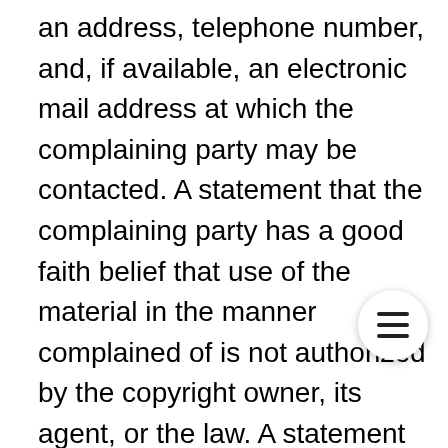an address, telephone number, and, if available, an electronic mail address at which the complaining party may be contacted. A statement that the complaining party has a good faith belief that use of the material in the manner complained of is not authorized by the copyright owner, its agent, or the law. A statement that the information in the notice is accurate, and under penalty of perjury, that the complaining party is authorized to act on behalf of the owner of an exclusive right that is allegedly infringed. Failure to include all of the above information may result in a delay of the processing or the DCMA notification. Please also note that under applicable law, 17 U.S.C. 512(f), any person who knowingly materially misrepresents that material or activity is infringing may be subject to liability.